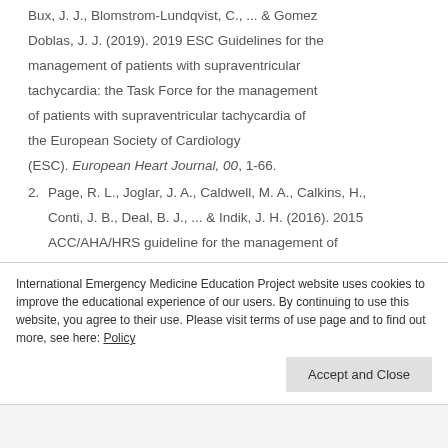Bux, J. J., Blomstrom-Lundqvist, C., ... & Gomez Doblas, J. J. (2019). 2019 ESC Guidelines for the management of patients with supraventricular tachycardia: the Task Force for the management of patients with supraventricular tachycardia of the European Society of Cardiology (ESC). European Heart Journal, 00, 1-66.
Page, R. L., Joglar, J. A., Caldwell, M. A., Calkins, H., Conti, J. B., Deal, B. J., ... & Indik, J. H. (2016). 2015 ACC/AHA/HRS guideline for the management of adult patients with supraventricular tachycardia: a report of the American College of
International Emergency Medicine Education Project website uses cookies to improve the educational experience of our users. By continuing to use this website, you agree to their use. Please visit terms of use page and to find out more, see here: Policy